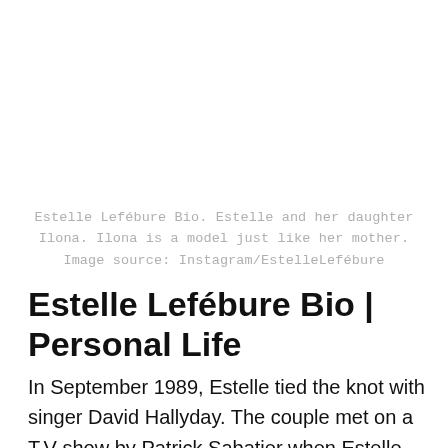Estelle Lefébure Bio. Estelle and her daughter Ilona. Ilona is a model just like her mother. Image source: Instagram/EstelleLefébure
Estelle Lefébure Bio | Personal Life
In September 1989, Estelle tied the knot with singer David Hallyday. The couple met on a T.V show by Patrick Sabatier when Estelle was a young model, and Hallyday had just released his first album. Their relation was love at